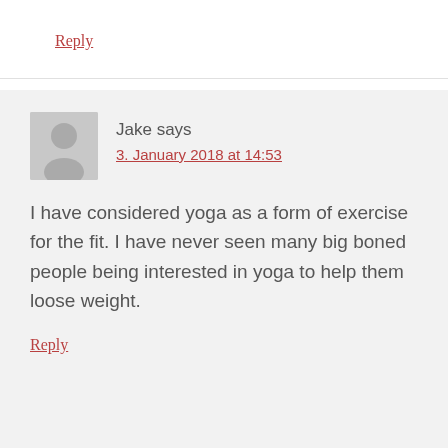Reply
Jake says
3. January 2018 at 14:53
I have considered yoga as a form of exercise for the fit. I have never seen many big boned people being interested in yoga to help them loose weight.
Reply